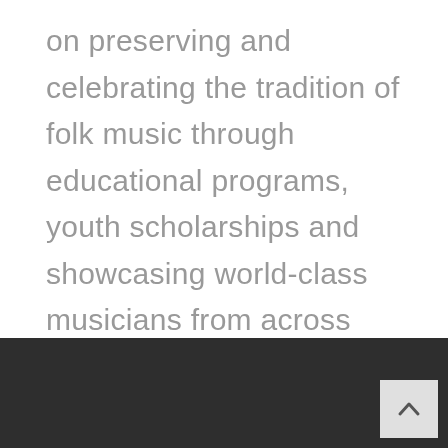on preserving and celebrating the tradition of folk music through educational programs, youth scholarships and showcasing world-class musicians from across Canada, United States and beyond.